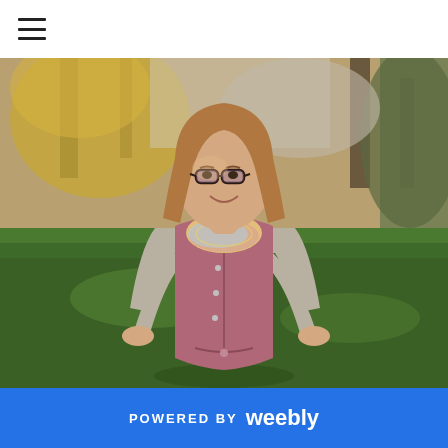≡ (hamburger menu icon)
[Figure (photo): A smiling woman with long brown hair and glasses wearing a pink/mauve sleeveless vest over a grey long-sleeve shirt with a colorful knit cowl scarf, standing outdoors in a park with green grass and trees in the background, hands on hips, sunny day with warm golden light.]
POWERED BY weebly